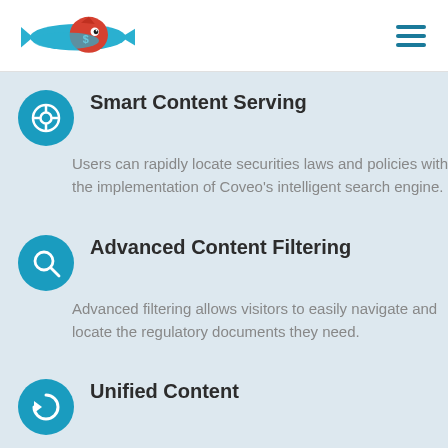Logo and navigation menu
Smart Content Serving
Users can rapidly locate securities laws and policies with the implementation of Coveo’s intelligent search engine.
Advanced Content Filtering
Advanced filtering allows visitors to easily navigate and locate the regulatory documents they need.
Unified Content